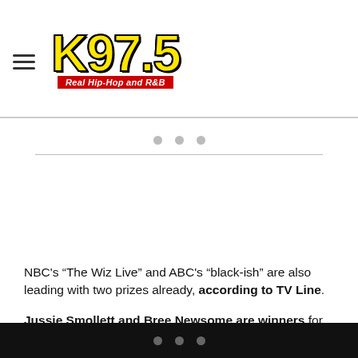K97.5 — Real Hip-Hop and R&B
[Figure (logo): K97.5 radio station logo with yellow text on white background and red tagline bar reading 'Real Hip-Hop and R&B']
NBC's “The Wiz Live” and ABC's “black-ish” are also leading with two prizes already, according to TV Line.
Jussie Smollett and Bree Newsome are winners for this year’s Chairman’s Awards for being “agents of change”